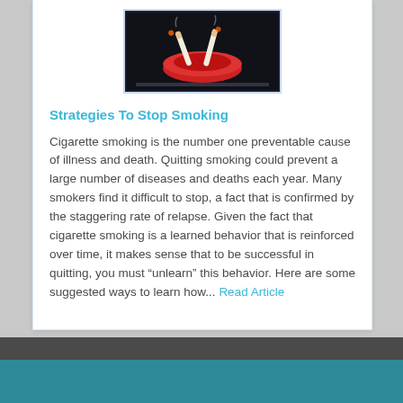[Figure (photo): Photo of cigarettes with red ashtray on dark background]
Strategies To Stop Smoking
Cigarette smoking is the number one preventable cause of illness and death. Quitting smoking could prevent a large number of diseases and deaths each year. Many smokers find it difficult to stop, a fact that is confirmed by the staggering rate of relapse. Given the fact that cigarette smoking is a learned behavior that is reinforced over time, it makes sense that to be successful in quitting, you must "unlearn" this behavior. Here are some suggested ways to learn how... Read Article